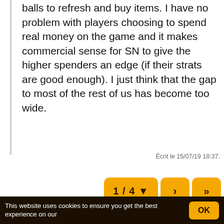balls to refresh and buy items. I have no problem with players choosing to spend real money on the game and it makes commercial sense for SN to give the higher spenders an edge (if their strats are good enough). I just think that the gap to most of the rest of us has become too wide.
Écrit le 15/07/19 18:37.
[Figure (other): Pagination buttons: '1/4 ▼', '›', '»']
Accueil » English » Questions? » Sports Shop
This website uses cookies to ensure you get the best experience on our